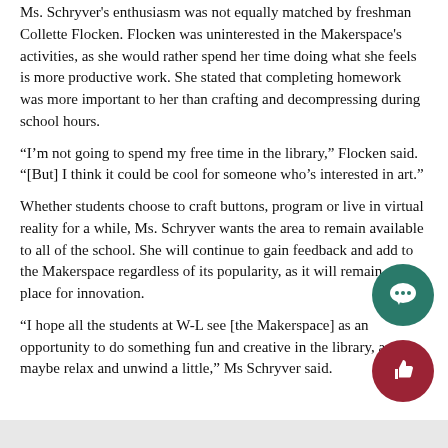Ms. Schryver's enthusiasm was not equally matched by freshman Collette Flocken. Flocken was uninterested in the Makerspace's activities, as she would rather spend her time doing what she feels is more productive work. She stated that completing homework was more important to her than crafting and decompressing during school hours.
“I’m not going to spend my free time in the library,” Flocken said. “[But] I think it could be cool for someone who’s interested in art.”
Whether students choose to craft buttons, program or live in virtual reality for a while, Ms. Schryver wants the area to remain available to all of the school. She will continue to gain feedback and add to the Makerspace regardless of its popularity, as it will remain a place for innovation.
“I hope all the students at W-L see [the Makerspace] as an opportunity to do something fun and creative in the library, and maybe relax and unwind a little,” Ms Schryver said.